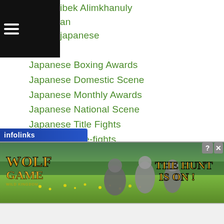ibek Alimkhanuly | an | japanese
Japanese Boxing Awards
Japanese Domestic Scene
Japanese Monthly Awards
Japanese National Scene
Japanese Title Fights
Japanese-title-fights
Japanese Youth Title
Japanese Youth Tournament
Jason Buenaobra
Jason Canoy
Jason Pagara
Jasur Akhmadjanov
...ek Latipov
[Figure (screenshot): Wolf Game advertisement banner: 'WOLF GAME' logo on left, wolves in meadow in center, 'THE HUNT IS ON!' text on right with infolinks label at bottom left and close/help buttons top right.]